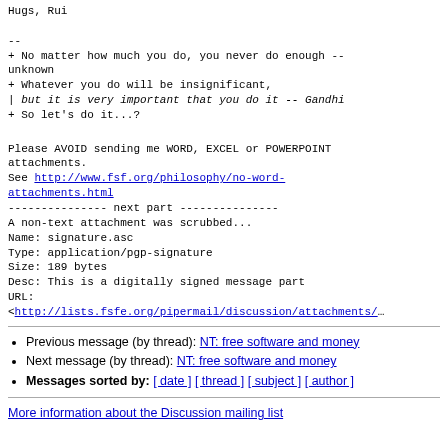Hugs, Rui

--
+ No matter how much you do, you never do enough -- unknown
+ Whatever you do will be insignificant,
| but it is very important that you do it -- Gandhi
+ So let's do it...?
Please AVOID sending me WORD, EXCEL or POWERPOINT attachments.
See http://www.fsf.org/philosophy/no-word-attachments.html
--------------- next part ---------------
A non-text attachment was scrubbed...
Name: signature.asc
Type: application/pgp-signature
Size: 189 bytes
Desc: This is a digitally signed message part
URL:
<http://lists.fsfe.org/pipermail/discussion/attachments/...
Previous message (by thread): NT: free software and money
Next message (by thread): NT: free software and money
Messages sorted by: [ date ] [ thread ] [ subject ] [ author ]
More information about the Discussion mailing list